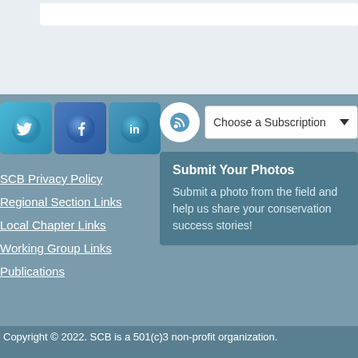[Figure (screenshot): Website footer area with social media icons (Twitter, Facebook, LinkedIn), navigation links, RSS subscription dropdown, and Submit Your Photos panel]
SCB Privacy Policy
Regional Section Links
Local Chapter Links
Working Group Links
Publications
Submit Your Photos
Submit a photo from the field and help us share your conservation success stories!
Copyright © 2022. SCB is a 501(c)3 non-profit organization.